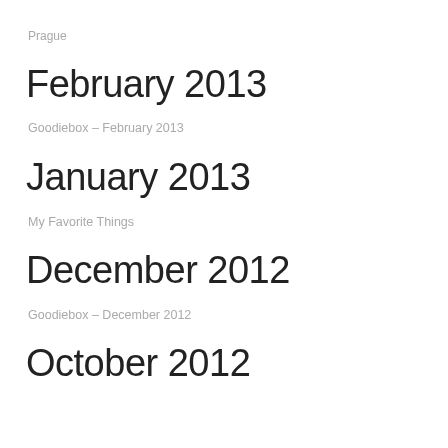Prague
February 2013
Goodiebox – February 2013
January 2013
My Favorite Things
December 2012
Goodiebox – December 2012
October 2012